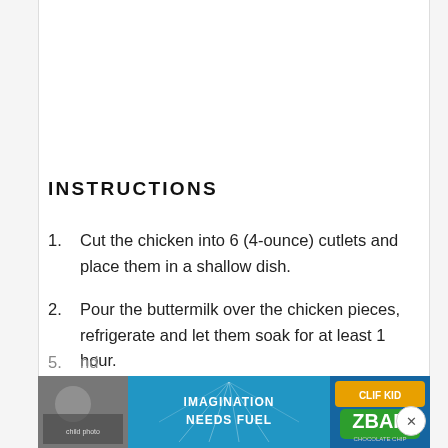INSTRUCTIONS
Cut the chicken into 6 (4-ounce) cutlets and place them in a shallow dish.
Pour the buttermilk over the chicken pieces, refrigerate and let them soak for at least 1 hour.
Preheat oven to 350 degrees.
Break the waffles into small pieces and pulse in a food processor until they resemble coarse
nd
[Figure (photo): Advertisement banner for CLIF Kid Z Bar with text 'Imagination Needs Fuel', featuring a child eating and a Z Bar chocolate chip product image]